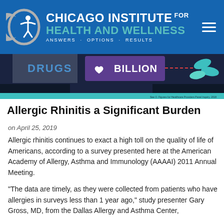Chicago Institute for Health and Wellness — Answers · Options · Results
[Figure (infographic): Partial infographic showing 'DRUGS' text, a purple badge with 'BILLION', a dashed red line, and teal capsule pills on a dark blue/navy background.]
Allergic Rhinitis a Significant Burden
on April 25, 2019
Allergic rhinitis continues to exact a high toll on the quality of life of Americans, according to a survey presented here at the American Academy of Allergy, Asthma and Immunology (AAAAI) 2011 Annual Meeting.
"The data are timely, as they were collected from patients who have allergies in surveys less than 1 year ago," study presenter Gary Gross, MD, from the Dallas Allergy and Asthma Center,